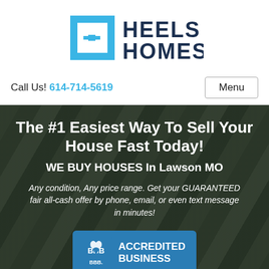[Figure (logo): Heels Homes logo with stylized H icon in blue and dark blue text]
Call Us! 614-714-5619
Menu
The #1 Easiest Way To Sell Your House Fast Today!
WE BUY HOUSES In Lawson MO
Any condition, Any price range. Get your GUARANTEED fair all-cash offer by phone, email, or even text message in minutes!
[Figure (logo): BBB Accredited Business badge in blue]